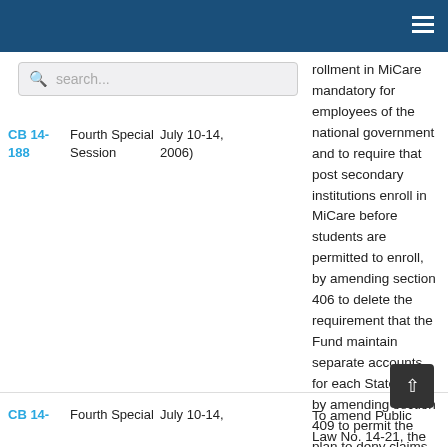rollment in MiCare mandatory for employees of the national government and to require that post secondary institutions enroll in MiCare before students are permitted to enroll, by amending section 406 to delete the requirement that the Fund maintain separate accounts for each State and by amending section 409 to permit the plan to deny claims based on preexisting medical conditions, and for other purposes.
CB 14-188 | Fourth Special Session | July 10-14, 2006)
To amend Public Law No. 14-21, the FY 2006 budget, amended by Public Law No. 14-50, in order to provide
CB 14- | Fourth Special | July 10-14,